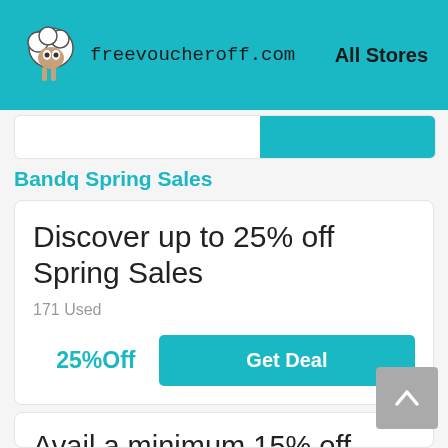freevoucheroff.com  All Stores
Bandq Spring Sales
Discover up to 25% off Spring Sales
171 Used
25%Off
Get Deal
Avail a minimum 15% off Spring Sales